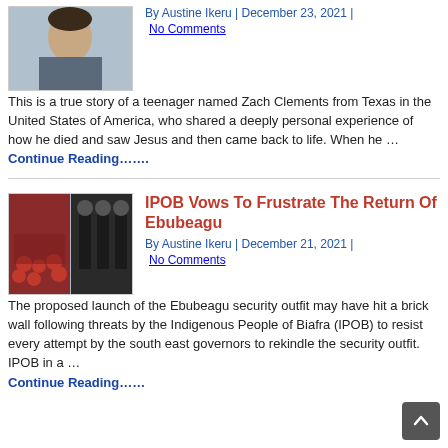[Figure (photo): Portrait photo of a teenager, slightly grayed out]
By Austine Ikeru | December 23, 2021 | No Comments
This is a true story of a teenager named Zach Clements from Texas in the United States of America, who shared a deeply personal experience of how he died and saw Jesus and then came back to life. When he … Continue Reading…….
[Figure (photo): Two-panel image: left shows crowd with red caps, right shows soldiers in black uniforms]
IPOB Vows To Frustrate The Return Of Ebubeagu
By Austine Ikeru | December 21, 2021 | No Comments
The proposed launch of the Ebubeagu security outfit may have hit a brick wall following threats by the Indigenous People of Biafra (IPOB) to resist every attempt by the south east governors to rekindle the security outfit. IPOB in a … Continue Reading……